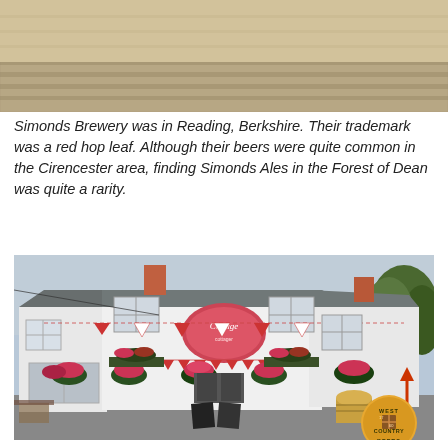[Figure (photo): Sepia/vintage photograph showing stone steps or bleachers with some figures visible at the top]
Simonds Brewery was in Reading, Berkshire. Their trademark was a red hop leaf. Although their beers were quite common in the Cirencester area, finding Simonds Ales in the Forest of Dean was quite a rarity.
[Figure (photo): Colour photograph of a white-painted English pub building with hanging flower baskets, red and white bunting, a sign reading 'Cottage' on the facade, and a West Country Beers logo with an upward arrow in the bottom right corner]